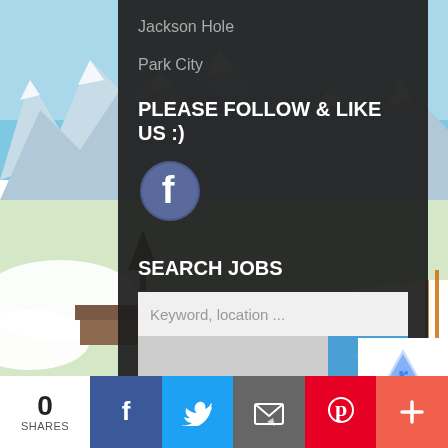[Figure (photo): Snowy mountain landscape with blue sky, ski slopes, snow-covered peaks and trees visible on left and right sides behind dark sidebar panel]
Jackson Hole
Park City
PLEASE FOLLOW & LIKE US :)
[Figure (logo): Facebook circular icon/logo in blue-grey tones]
SEARCH JOBS
Keyword, location ...
0 SHARES
[Figure (infographic): Social share bar at bottom with Facebook, Twitter, Email, Pinterest, and plus buttons]